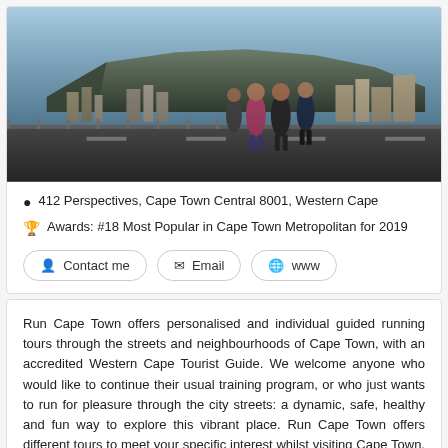[Figure (photo): Group of runners jogging on a bridge or elevated road with Table Mountain and Cape Town cityscape in the background]
📍 412 Perspectives, Cape Town Central 8001, Western Cape
🏆 Awards: #18 Most Popular in Cape Town Metropolitan for 2019
Contact me   Email   www
Run Cape Town offers personalised and individual guided running tours through the streets and neighbourhoods of Cape Town, with an accredited Western Cape Tourist Guide. We welcome anyone who would like to continue their usual training program, or who just wants to run for pleasure through the city streets: a dynamic, safe, healthy and fun way to explore this vibrant place. Run Cape Town offers different tours to meet your specific interest whilst visiting Cape Town, from historical routes around...  Read more